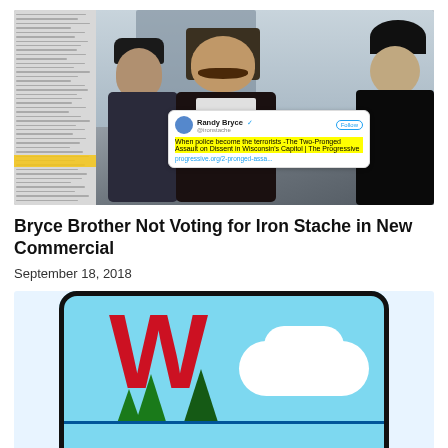[Figure (photo): Composite image: left side shows a newspaper/text column with yellow highlighted text at bottom; right side shows three men standing outdoors in winter clothing, with a Twitter overlay showing a tweet by Randy Bryce with highlighted text 'When police become the terrorists -The Two-Pronged Assault on Dissent in Wisconsin's Capitol | The Progressive' and a link progressive.org/2-pronged-assa...]
Bryce Brother Not Voting for Iron Stache in New Commercial
September 18, 2018
[Figure (logo): Wisconsin logo sticker: rounded rectangle with blue sky background, large red letter W, green pine trees, and white clouds.]